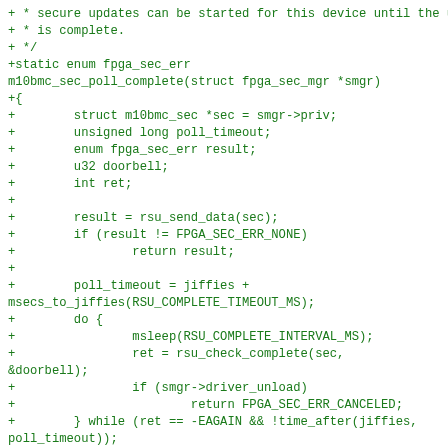+ * secure updates can be started for this device until the update
+ * is complete.
+ */
+static enum fpga_sec_err
m10bmc_sec_poll_complete(struct fpga_sec_mgr *smgr)
+{
+        struct m10bmc_sec *sec = smgr->priv;
+        unsigned long poll_timeout;
+        enum fpga_sec_err result;
+        u32 doorbell;
+        int ret;
+
+        result = rsu_send_data(sec);
+        if (result != FPGA_SEC_ERR_NONE)
+                return result;
+
+        poll_timeout = jiffies +
msecs_to_jiffies(RSU_COMPLETE_TIMEOUT_MS);
+        do {
+                msleep(RSU_COMPLETE_INTERVAL_MS);
+                ret = rsu_check_complete(sec,
&doorbell);
+                if (smgr->driver_unload)
+                        return FPGA_SEC_ERR_CANCELED;
+        } while (ret == -EAGAIN && !time_after(jiffies,
poll_timeout));
+
+        if (ret == -EAGAIN) {
+                log_error_regs(sec, doorbell);